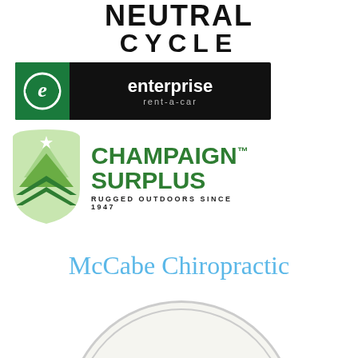[Figure (logo): Neutral Cycle logo — bold black text reading NEUTRAL CYCLE]
[Figure (logo): Enterprise rent-a-car logo — black background with green panel containing stylized e, white text reading enterprise rent-a-car]
[Figure (logo): Champaign Surplus logo — mountain/chevron icon in shades of green with star, text reading CHAMPAIGN SURPLUS RUGGED OUTDOORS SINCE 1947]
[Figure (logo): McCabe Chiropractic logo — light blue serif text]
[Figure (logo): Rosemon logo — partial circular badge with red serif text ROSEMON visible at bottom of page]